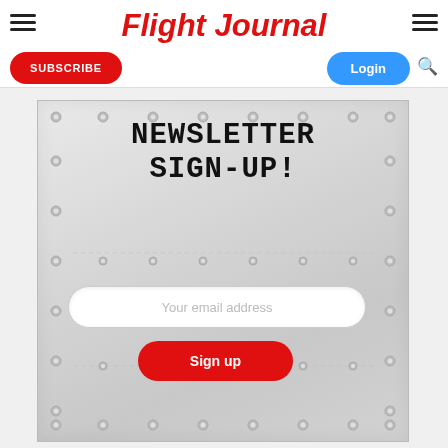Flight Journal
SUBSCRIBE
Login
NEWSLETTER SIGN-UP!
Your email address
Sign up